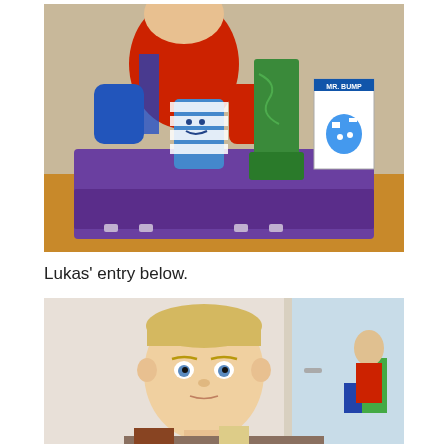[Figure (photo): A child dressed in a Spiderman costume sitting behind a purple storage box/tray on a wooden table. On the tray are two craft projects: a blue cylindrical container wrapped in white bandages with a smiley face (Mr. Bump themed), and a green tall rectangular tower-like sculpture. Next to these is a Mr. Bump book standing upright.]
Lukas’ entry below.
[Figure (photo): A young blonde boy looking straight at the camera, standing in what appears to be a hallway or room with a door visible behind him and another person visible in the reflection or background.]